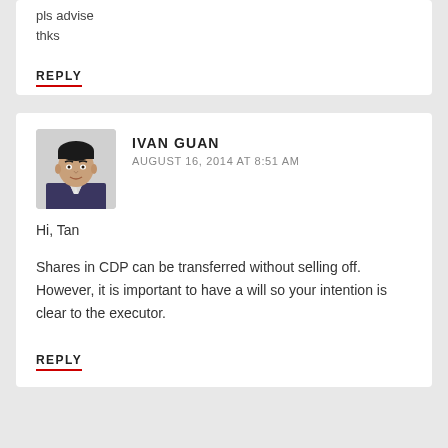pls advise
thks
REPLY
[Figure (photo): Profile photo of Ivan Guan, a man in a dark jacket]
IVAN GUAN
AUGUST 16, 2014 AT 8:51 AM
Hi, Tan
Shares in CDP can be transferred without selling off. However, it is important to have a will so your intention is clear to the executor.
REPLY